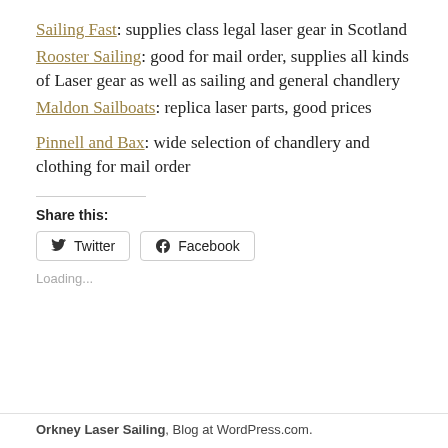Sailing Fast: supplies class legal laser gear in Scotland
Rooster Sailing: good for mail order, supplies all kinds of Laser gear as well as sailing and general chandlery
Maldon Sailboats: replica laser parts, good prices
Pinnell and Bax: wide selection of chandlery and clothing for mail order
Share this:
[Figure (other): Twitter and Facebook share buttons]
Loading...
Orkney Laser Sailing, Blog at WordPress.com.